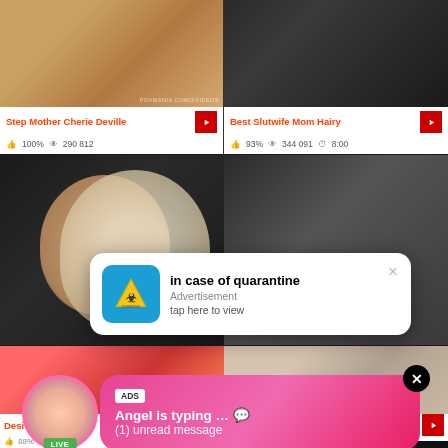[Figure (screenshot): Adult video thumbnail grid with two overlaid advertisement popups. Top row shows two video thumbnails with titles 'Step Mother Cherie Deville' (100% likes, 290 812 views) and 'Best Slutwife Mom Hairy' (93% likes, 344 091 views, 8:00 duration). Middle row shows two more thumbnails partially obscured by a quarantine advertisement popup. Bottom row shows 'Desi hou...' and another video with a live chat advertisement bubble overlay.]